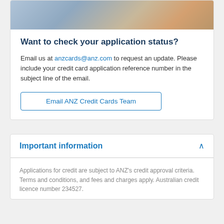[Figure (photo): Photo strip showing people at a table with drinks]
Want to check your application status?
Email us at anzcards@anz.com to request an update. Please include your credit card application reference number in the subject line of the email.
Email ANZ Credit Cards Team
Important information
Applications for credit are subject to ANZ's credit approval criteria. Terms and conditions, and fees and charges apply. Australian credit licence number 234527.